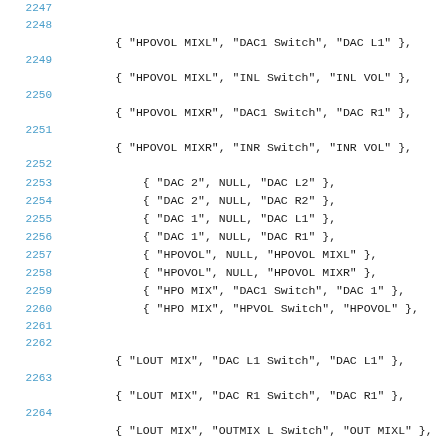2247
2248
{ "HPOVOL MIXL", "DAC1 Switch", "DAC L1" },
2249
{ "HPOVOL MIXL", "INL Switch", "INL VOL" },
2250
{ "HPOVOL MIXR", "DAC1 Switch", "DAC R1" },
2251
{ "HPOVOL MIXR", "INR Switch", "INR VOL" },
2252
2253        { "DAC 2", NULL, "DAC L2" },
2254        { "DAC 2", NULL, "DAC R2" },
2255        { "DAC 1", NULL, "DAC L1" },
2256        { "DAC 1", NULL, "DAC R1" },
2257        { "HPOVOL", NULL, "HPOVOL MIXL" },
2258        { "HPOVOL", NULL, "HPOVOL MIXR" },
2259        { "HPO MIX", "DAC1 Switch", "DAC 1" },
2260        { "HPO MIX", "HPVOL Switch", "HPOVOL" },
2261
2262
{ "LOUT MIX", "DAC L1 Switch", "DAC L1" },
2263
{ "LOUT MIX", "DAC R1 Switch", "DAC R1" },
2264
{ "LOUT MIX", "OUTMIX L Switch", "OUT MIXL" }